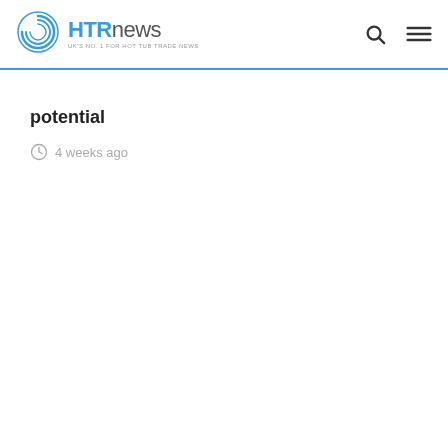HTRnews — UK's No. 1 for Hot Tub Trade News
potential
4 weeks ago